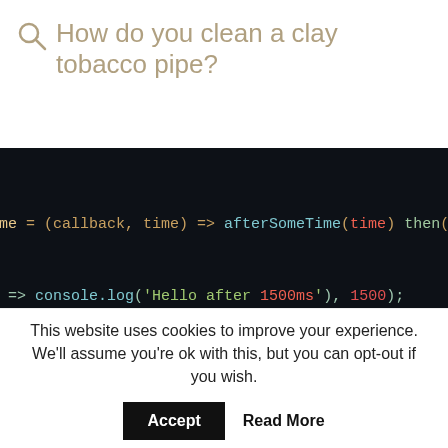How do you clean a clay tobacco pipe?
[Figure (screenshot): Dark-themed code editor screenshot showing JavaScript code lines with syntax highlighting. Overlaid bold white text reads: 'How do you clean a clay tobacco pipe?']
This website uses cookies to improve your experience. We'll assume you're ok with this, but you can opt-out if you wish.
Accept   Read More